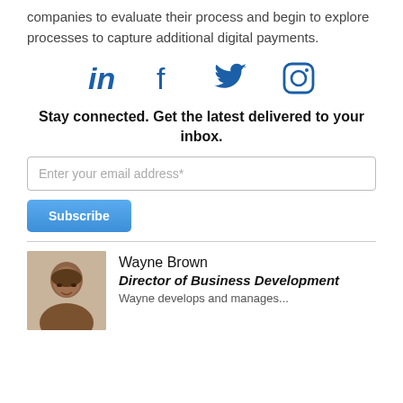companies to evaluate their process and begin to explore processes to capture additional digital payments.
[Figure (infographic): Social media icons row: LinkedIn, Facebook, Twitter, Instagram in blue]
Stay connected. Get the latest delivered to your inbox.
Enter your email address*
Subscribe
Wayne Brown
Director of Business Development
Wayne develops and manages...